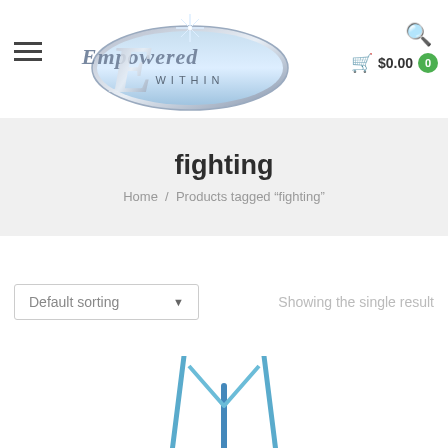[Figure (logo): Empowered Within logo — stylized cursive E with silver/blue oval containing the text 'Empowered Within']
fighting
Home / Products tagged "fighting"
Default sorting
Showing the single result
[Figure (photo): Partial product image showing blue angular shapes at the bottom of the page]